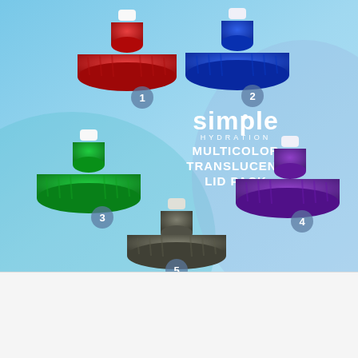[Figure (photo): Product image showing Simple Hydration Multicolor Translucent Lid Pack with 5 colored lids (red, blue, green, purple, smoke/gray) on a light blue gradient background. Each lid is numbered 1-5.]
$9.99